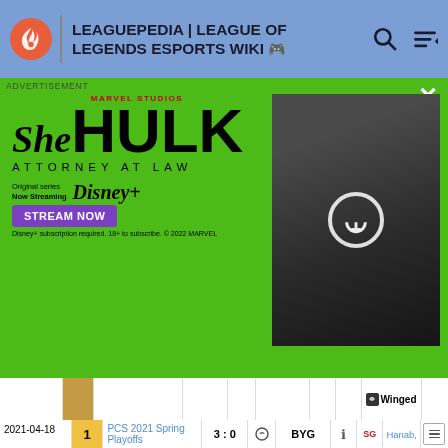LEAGUEPEDIA | LEAGUE OF LEGENDS ESPORTS WIKI
[Figure (screenshot): She-Hulk Attorney at Law advertisement banner for Disney+]
| Date | Game | League | Score | Team1 | Opp | Info | Flag | Picks |  |
| --- | --- | --- | --- | --- | --- | --- | --- | --- | --- |
|  |  |  |  |  |  |  |  | Winged |  |
| 2021-04-18 | 1 | PCS 2021 Spring Playoffs | 3 : 0 |  | BYG | i | SG | Hanab, River, Maple, Unified, Kaiwing, Helper, Winged |  |